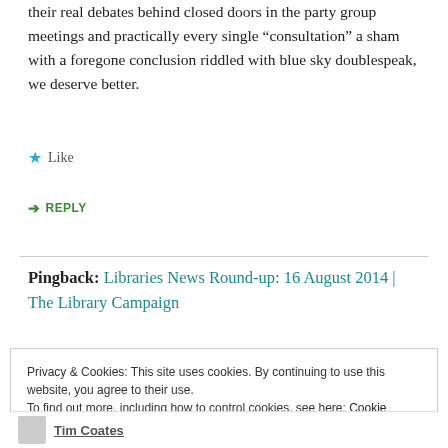their real debates behind closed doors in the party group meetings and practically every single “consultation” a sham with a foregone conclusion riddled with blue sky doublespeak, we deserve better.
★ Like
➜ REPLY
Pingback: Libraries News Round-up: 16 August 2014 | The Library Campaign
Privacy & Cookies: This site uses cookies. By continuing to use this website, you agree to their use.
To find out more, including how to control cookies, see here: Cookie Policy
Close and accept
Tim Coates